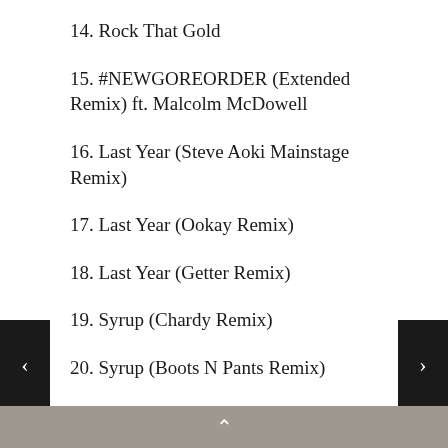14. Rock That Gold
15. #NEWGOREORDER (Extended Remix) ft. Malcolm McDowell
16. Last Year (Steve Aoki Mainstage Remix)
17. Last Year (Ookay Remix)
18. Last Year (Getter Remix)
19. Syrup (Chardy Remix)
20. Syrup (Boots N Pants Remix)
21. Ratchet (Reid Stefan Remix)